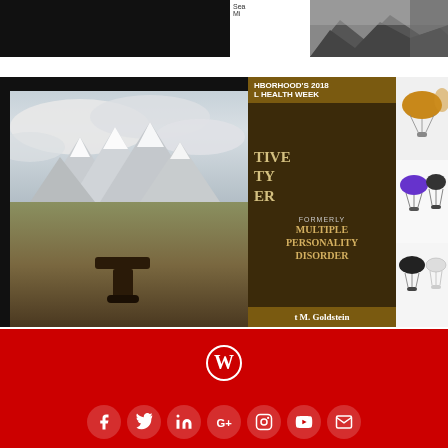[Figure (photo): Dark book cover or image with italic subtitle text '(the Story Within the Story)' in gold/yellow]
[Figure (photo): Grayscale mountain landscape photo (partial)]
[Figure (photo): Landscape photo of snow-capped mountains (Teton range) with cloudy sky, brown foreground brush, and trailer hitch in foreground]
[Figure (photo): Book cover for a psychology book - dark brown background with gold banners reading 'hborhood's 2018 l Health Week' and 'FORMERLY MULTIPLE PERSONALITY DISORDER' by M. Goldstein]
[Figure (photo): Multiple parachutes in various colors (gold, purple, black, white) arranged in a grid]
[Figure (logo): WordPress logo (W in circle) in white on red background]
[Figure (infographic): Social media icons row on red background: Facebook, Twitter, LinkedIn, Google+, Instagram, YouTube, Email]